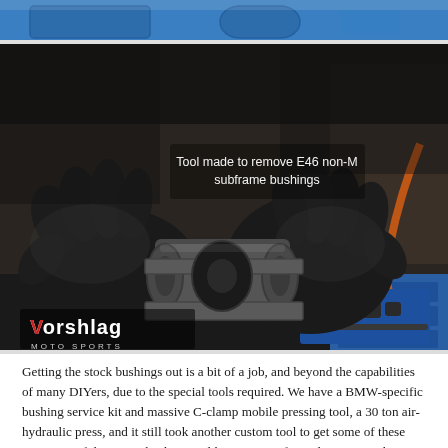[Figure (photo): Top portion of a blue toolbox lid, partially visible at the top of the page]
[Figure (photo): Person wearing black mechanic gloves holding a custom metal tool used to remove E46 non-M subframe bushings. A blue socket set is visible in the background. The Vorshlag Motorsports logo appears in the lower-left corner. White text overlay reads: 'Tool made to remove E46 non-M subframe bushings']
Getting the stock bushings out is a bit of a job, and beyond the capabilities of many DIYers, due to the special tools required. We have a BMW-specific bushing service kit and massive C-clamp mobile pressing tool, a 30 ton air-hydraulic press, and it still took another custom tool to get some of these out. Most of the BMW bushing tool kits are specific to the M3 cars, but one of the non-M E46 subframe bushing pairs is so different that Olof built this tool. It fits inside a pair of cavities and allows the press to line up better. Cutting or burning these